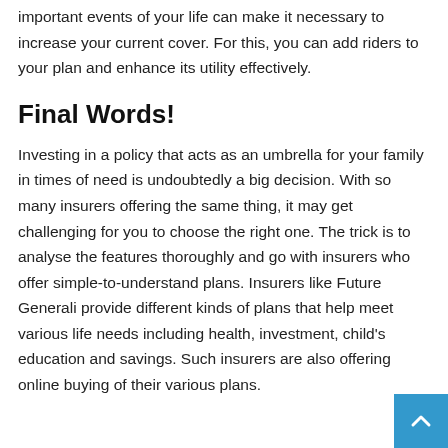important events of your life can make it necessary to increase your current cover. For this, you can add riders to your plan and enhance its utility effectively.
Final Words!
Investing in a policy that acts as an umbrella for your family in times of need is undoubtedly a big decision. With so many insurers offering the same thing, it may get challenging for you to choose the right one. The trick is to analyse the features thoroughly and go with insurers who offer simple-to-understand plans. Insurers like Future Generali provide different kinds of plans that help meet various life needs including health, investment, child's education and savings. Such insurers are also offering online buying of their various plans.